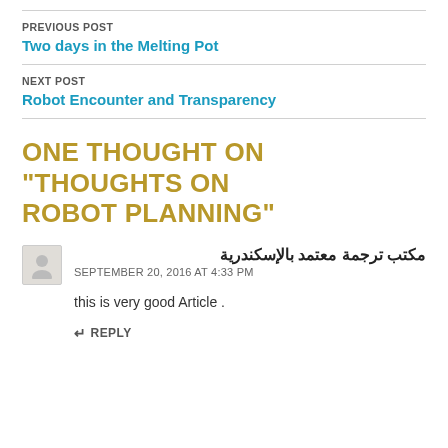PREVIOUS POST
Two days in the Melting Pot
NEXT POST
Robot Encounter and Transparency
ONE THOUGHT ON “THOUGHTS ON ROBOT PLANNING”
مكتب ترجمة معتمد بالإسكندرية
SEPTEMBER 20, 2016 AT 4:33 PM
this is very good Article .
REPLY